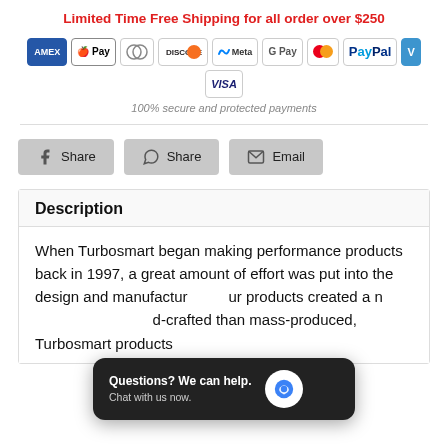Limited Time Free Shipping for all order over $250
[Figure (infographic): Row of payment method icons: AMEX, Apple Pay, Diners Club, Discover, Meta Pay, Google Pay, Mastercard, PayPal, Venmo, VISA]
100% secure and protected payments
[Figure (infographic): Three share/social buttons: Facebook Share, WhatsApp Share, Email]
Description
When Turbosmart began making performance products back in 1997, a great amount of effort was put into the design and manufactur[ing of] our products created a n[ew standard of hand-]crafted than mass-produced, Turbosmart products
[Figure (other): Chat popup overlay: 'Questions? We can help. Chat with us now.' with blue chat bubble icon]